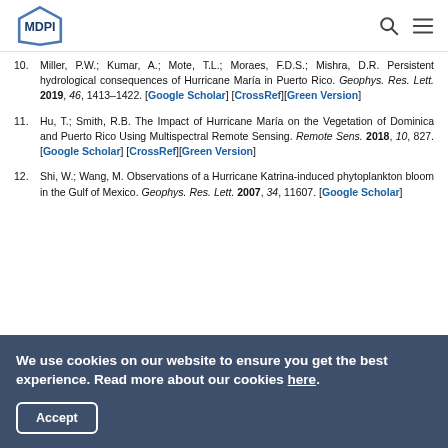MDPI logo with search and menu icons
10. Miller, P.W.; Kumar, A.; Mote, T.L.; Moraes, F.D.S.; Mishra, D.R. Persistent hydrological consequences of Hurricane María in Puerto Rico. Geophys. Res. Lett. 2019, 46, 1413–1422. [Google Scholar] [CrossRef][Green Version]
11. Hu, T.; Smith, R.B. The Impact of Hurricane María on the Vegetation of Dominica and Puerto Rico Using Multispectral Remote Sensing. Remote Sens. 2018, 10, 827. [Google Scholar] [CrossRef][Green Version]
12. Shi, W.; Wang, M. Observations of a Hurricane Katrina-induced phytoplankton bloom in the Gulf of Mexico. Geophys. Res. Lett. 2007, 34, 11607. [Google Scholar]
We use cookies on our website to ensure you get the best experience. Read more about our cookies here.
Accept